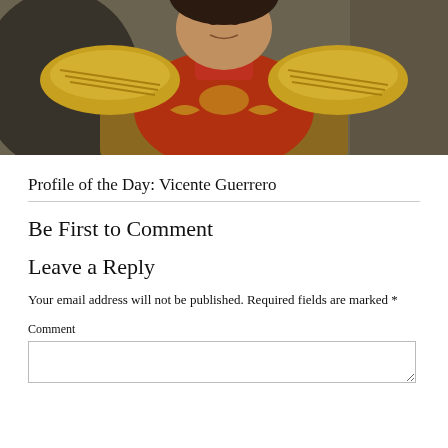[Figure (illustration): Portrait painting of Vicente Guerrero in military uniform with gold epaulettes and red jacket]
Profile of the Day: Vicente Guerrero
Be First to Comment
Leave a Reply
Your email address will not be published. Required fields are marked *
Comment